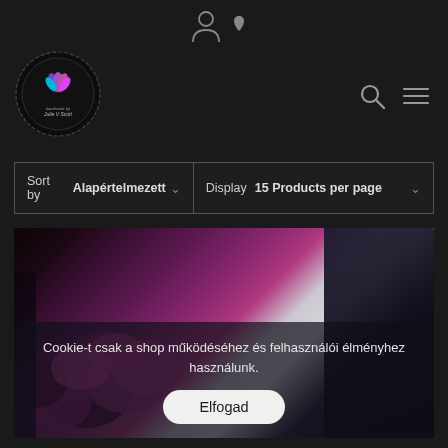[Figure (logo): Circular logo with floral motif - handmade by Julie V Scott, with decorative border]
Sort by Alapértelmezett
Display 15 Products per page
[Figure (photo): Dark product photo showing purple/pink flowers and dark cosmetic jars on dark background]
Cookie-t csak a shop működéséhez és felhasználói élményhez használunk.
Elfogad